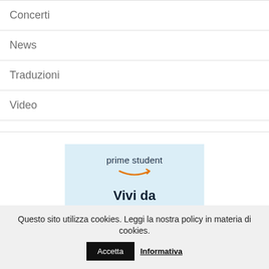Concerti
News
Traduzioni
Video
[Figure (illustration): Amazon Prime Student advertisement with light blue background. Text reads 'prime student' with Amazon smile arrow logo, followed by 'Vivi da Prime. Paga da studente.' in bold dark navy text.]
Questo sito utilizza cookies. Leggi la nostra policy in materia di cookies.
Accetta
Informativa